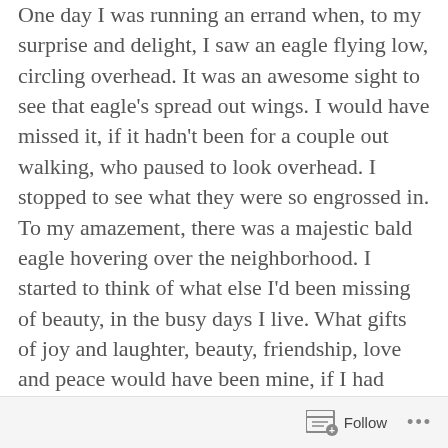One day I was running an errand when, to my surprise and delight, I saw an eagle flying low, circling overhead. It was an awesome sight to see that eagle's spread out wings. I would have missed it, if it hadn't been for a couple out walking, who paused to look overhead. I stopped to see what they were so engrossed in. To my amazement, there was a majestic bald eagle hovering over the neighborhood. I started to think of what else I'd been missing of beauty, in the busy days I live. What gifts of joy and laughter, beauty, friendship, love and peace would have been mine, if I had simply paused to look and see around me?
Follow ···